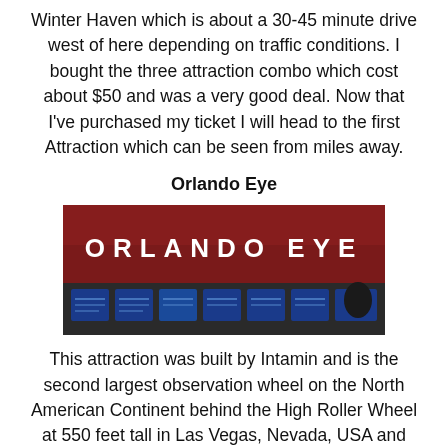Winter Haven which is about a 30-45 minute drive west of here depending on traffic conditions. I bought the three attraction combo which cost about $50 and was a very good deal. Now that I've purchased my ticket I will head to the first Attraction which can be seen from miles away.
Orlando Eye
[Figure (photo): Photo of the Orlando Eye attraction entrance sign with large backlit letters spelling ORLANDO EYE on a dark red/maroon background, with blue display screens below.]
This attraction was built by Intamin and is the second largest observation wheel on the North American Continent behind the High Roller Wheel at 550 feet tall in Las Vegas, Nevada, USA and the fourth largest observation wheel in the world behind the High Roller, Star of Nanchang at 525 feet tall in Nanchang, Jiangxi